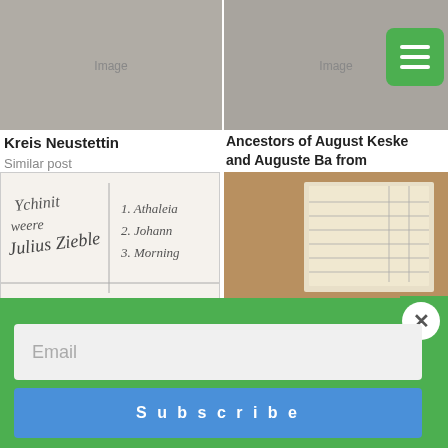[Figure (photo): Decorative historical image for Kreis Neustettin post]
Kreis Neustettin
Similar post
[Figure (photo): Image for Ancestors of August Keske and Auguste Ba... from Gramenz to Hennepin County, Minnesota]
Ancestors of August Keske and Auguste Ba from Gramenz to Hennepin County, Minnesota
In "Family History"
[Figure (photo): Handwritten document image for Seiler Sturm Family from Körlin and Belgard]
IN	S'
Seiler Sturm Family from Körlin and Belgard
In "Family History"
[Figure (photo): Old land record book image for Eschenriege, Neustettin – Land Records (Mutterrolle)]
Eschenriege, Neustettin – Land Records (Mutterrolle)
In "Land Records"
Email
Subscribe